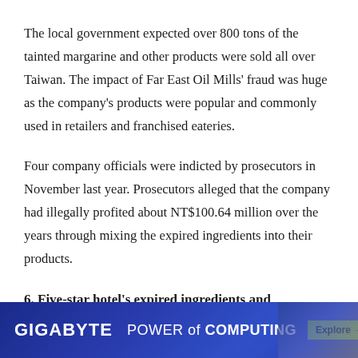The local government expected over 800 tons of the tainted margarine and other products were sold all over Taiwan. The impact of Far East Oil Mills' fraud was huge as the company's products were popular and commonly used in retailers and franchised eateries.
Four company officials were indicted by prosecutors in November last year. Prosecutors alleged that the company had illegally profited about NT$100.64 million over the years through mixing the expired ingredients into their products.
6. Five-star hotel's expired ingredients and restaurant chain's poor management
[Figure (screenshot): Advertisement banner for GIGABYTE: 'GIGABYTE POWER of COMPUTING' with an Explore button and data center imagery on a blue gradient background.]